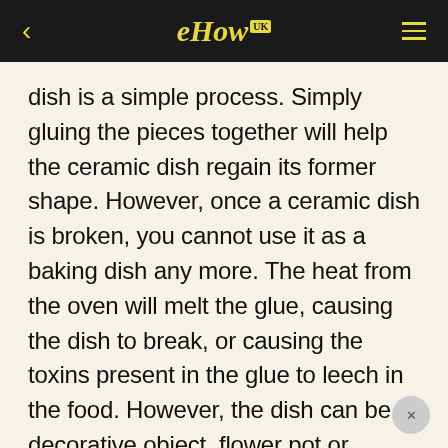eHow UK
dish is a simple process. Simply gluing the pieces together will help the ceramic dish regain its former shape. However, once a ceramic dish is broken, you cannot use it as a baking dish any more. The heat from the oven will melt the glue, causing the dish to break, or causing the toxins present in the glue to leech in the food. However, the dish can be a decorative object, flower pot or container for fruit or other items.